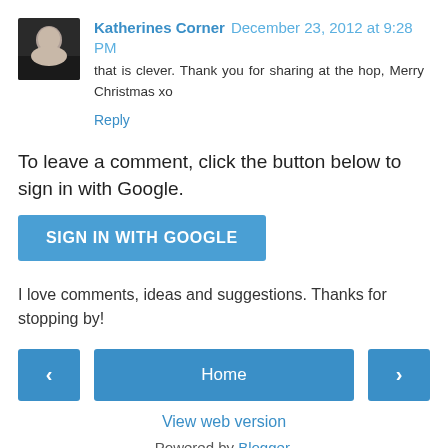Katherines Corner  December 23, 2012 at 9:28 PM
that is clever. Thank you for sharing at the hop, Merry Christmas xo
Reply
To leave a comment, click the button below to sign in with Google.
[Figure (other): SIGN IN WITH GOOGLE button]
I love comments, ideas and suggestions. Thanks for stopping by!
Home
View web version
Powered by Blogger.